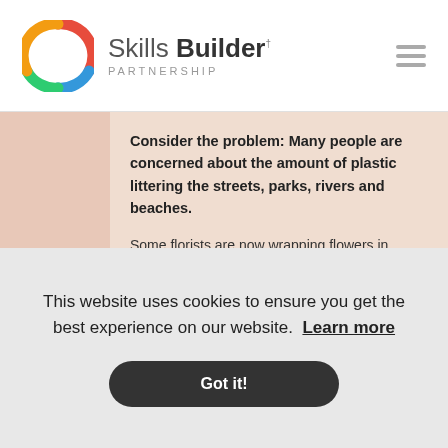Skills Builder PARTNERSHIP
Consider the problem: Many people are concerned about the amount of plastic littering the streets, parks, rivers and beaches.
Some florists are now wrapping flowers in recycled paper rather than cellophane, and some drinks companies have switched from plastic to card drinks containers.
This website uses cookies to ensure you get the best experience on our website. Learn more
Got it!